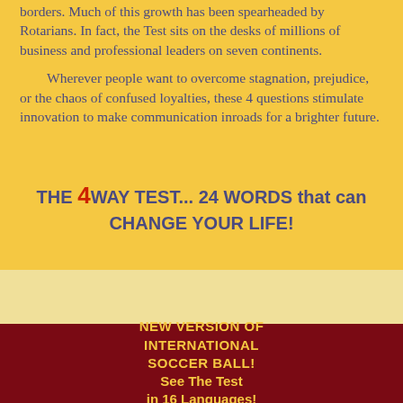borders. Much of this growth has been spearheaded by Rotarians. In fact, the Test sits on the desks of millions of business and professional leaders on seven continents.
Wherever people want to overcome stagnation, prejudice, or the chaos of confused loyalties, these 4 questions stimulate innovation to make communication inroads for a brighter future.
THE 4WAY TEST... 24 WORDS that can CHANGE YOUR LIFE!
NEW VERSION OF INTERNATIONAL SOCCER BALL! See The Test in 16 Languages!